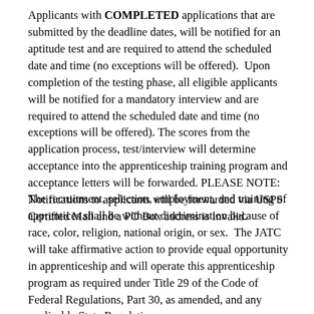Applicants with COMPLETED applications that are submitted by the deadline dates, will be notified for an aptitude test and are required to attend the scheduled date and time (no exceptions will be offered).  Upon completion of the testing phase, all eligible applicants will be notified for a mandatory interview and are required to attend the scheduled date and time (no exceptions will be offered). The scores from the application process, test/interview will determine acceptance into the apprenticeship training program and acceptance letters will be forwarded. PLEASE NOTE: Notifications to applicants will be forwarded via USPS Certified Mail and a PO Box address is invalid.
The recruitment, selection, employment, and training of apprentices shall be without discrimination because of race, color, religion, national origin, or sex.  The JATC will take affirmative action to provide equal opportunity in apprenticeship and will operate this apprenticeship program as required under Title 29 of the Code of Federal Regulations, Part 30, as amended, and any applicable State Regulations.